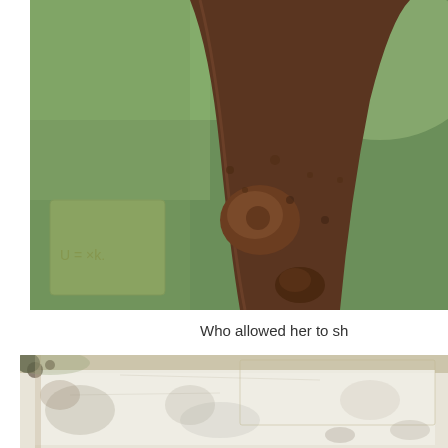[Figure (photo): Close-up photograph of a tree trunk or bark with rough brown texture and a greenish blurred background. There appears to be a rectangular lighter area partially visible on the lower left of the image.]
Who allowed her to sh
[Figure (photo): Photograph of what appears to be a weathered, aged surface or document with pale white and beige tones, showing staining, blotches, and discoloration. Appears to be an old piece of paper or surface with organic marks.]